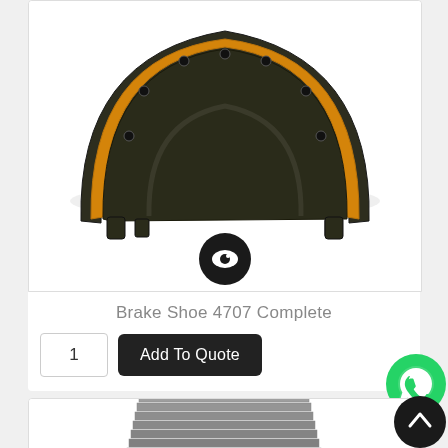[Figure (photo): Brake shoe 4707 complete product photo showing a curved metal brake shoe with orange/yellow friction material on top, viewed from the front against a white background. A black circular eye/view icon button is overlaid at the bottom center of the image.]
Brake Shoe 4707 Complete
1
Add To Quote
[Figure (photo): Partial view of a second product showing gray layered material (possibly brake pads or similar automotive parts) partially visible at the bottom of the page.]